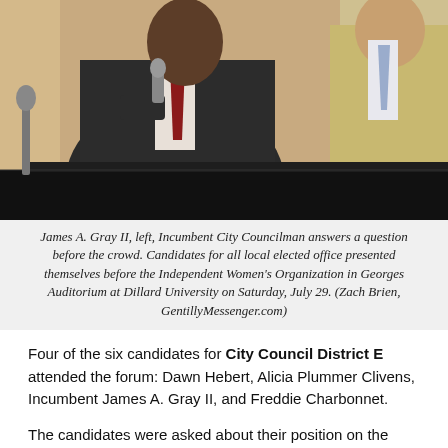[Figure (photo): Panel discussion photo showing James A. Gray II, left, speaking into a microphone at a table with a dark tablecloth, wearing a dark suit. Another man in a tan/beige suit sits to the right. Background is a warm wood-paneled wall.]
James A. Gray II, left, Incumbent City Councilman answers a question before the crowd. Candidates for all local elected office presented themselves before the Independent Women's Organization in Georges Auditorium at Dillard University on Saturday, July 29. (Zach Brien, GentillyMessenger.com)
Four of the six candidates for City Council District E attended the forum: Dawn Hebert, Alicia Plummer Clivens, Incumbent James A. Gray II, and Freddie Charbonnet.
The candidates were asked about their position on the Entergy Power Plant in New Orleans East.
Hebert and Charbonnet... [continues]